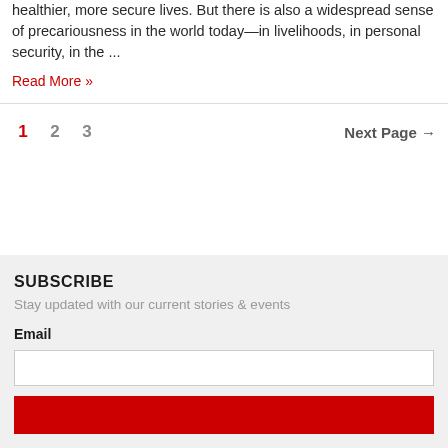healthier, more secure lives. But there is also a widespread sense of precariousness in the world today—in livelihoods, in personal security, in the ...
Read More »
1  2  3  Next Page →
SUBSCRIBE
Stay updated with our current stories & events
Email